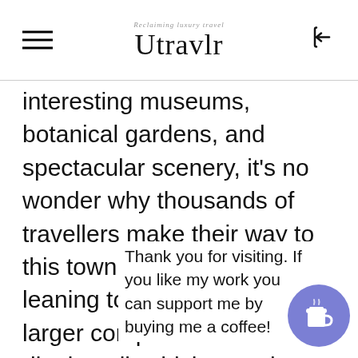Utravlr — Reclaiming luxury travel
interesting museums, botanical gardens, and spectacular scenery, it's no wonder why thousands of travellers make their way to this town every year. The leaning tower is part of a larger complex called Piazza di Miracoli, which contains the Cattedrale di Pisa. This Romanesque cathedral houses many important relics, including the mummy … e patron … is a particu … must-visit fo … o pedes … tre… bars, fashion boutiques, and pastry shops.
Thank you for visiting. If you like my work you can support me by buying me a coffee!